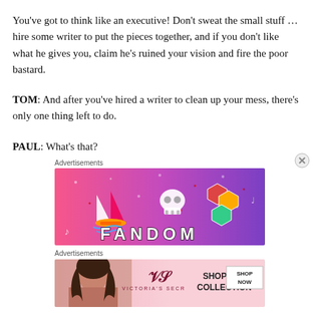You've got to think like an executive! Don't sweat the small stuff … hire some writer to put the pieces together, and if you don't like what he gives you, claim he's ruined your vision and fire the poor bastard.
TOM: And after you've hired a writer to clean up your mess, there's only one thing left to do.
PAUL: What's that?
Advertisements
[Figure (illustration): Fandom advertisement banner with colorful gradient background (pink to purple), featuring icons of a sailboat, skull, gems, and musical notes with the word FANDOM in large letters.]
Advertisements
[Figure (illustration): Victoria's Secret advertisement banner featuring a model, VS logo, text SHOP THE COLLECTION, and a SHOP NOW button.]